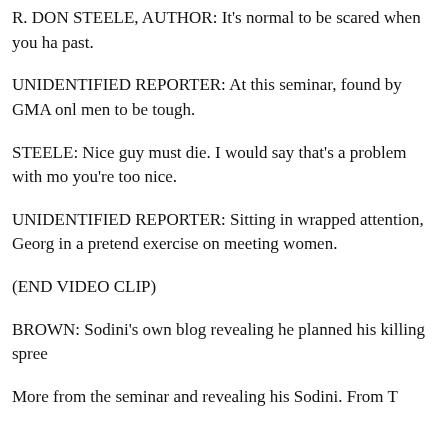R. DON STEELE, AUTHOR: It's normal to be scared when you ha[ve a painful] past.
UNIDENTIFIED REPORTER: At this seminar, found by GMA onl[ine,] men to be tough.
STEELE: Nice guy must die. I would say that's a problem with mo[st men,] you're too nice.
UNIDENTIFIED REPORTER: Sitting in wrapped attention, Georg[ia men participate] in a pretend exercise on meeting women.
(END VIDEO CLIP)
BROWN: Sodini's own blog revealing he planned his killing spree[...]
More from the seminar and revealing his Sodini. From T[...]